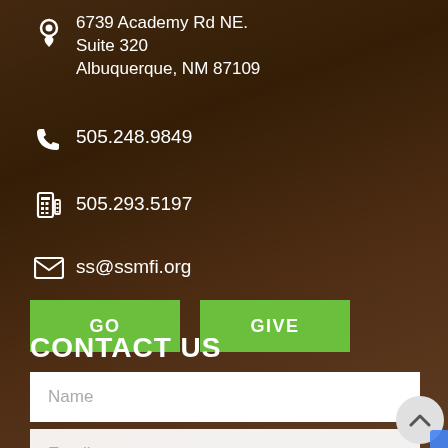6739 Academy Rd NE.
Suite 320
Albuquerque, NM 87109
505.248.9849
505.293.5197
ss@ssmfi.org
GO
GIVE
CONTACT US
Name
Email